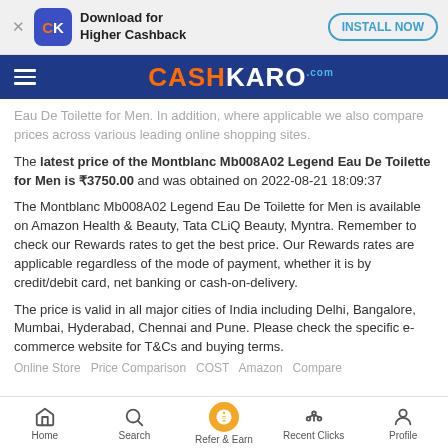Download for Higher Cashback — INSTALL NOW
CASHKARO.COM
Eau De Toilette for Men. In addition, where applicable we also compare prices across various leading online shopping sites.
The latest price of the Montblanc Mb008A02 Legend Eau De Toilette for Men is ₹3750.00 and was obtained on 2022-08-21 18:09:37
The Montblanc Mb008A02 Legend Eau De Toilette for Men is available on Amazon Health & Beauty, Tata CLiQ Beauty, Myntra. Remember to check our Rewards rates to get the best price. Our Rewards rates are applicable regardless of the mode of payment, whether it is by credit/debit card, net banking or cash-on-delivery.
The price is valid in all major cities of India including Delhi, Bangalore, Mumbai, Hyderabad, Chennai and Pune. Please check the specific e-commerce website for T&Cs and buying terms.
Home  Search  Refer & Earn  Recent Clicks  Profile